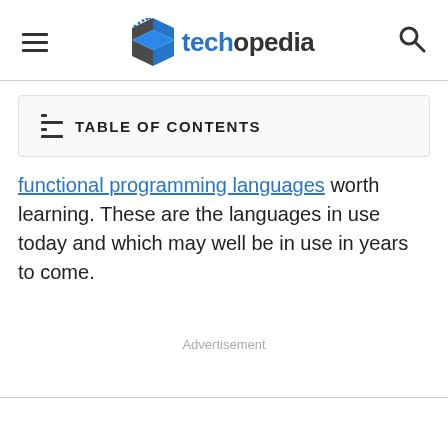techopedia
TABLE OF CONTENTS
functional programming languages worth learning. These are the languages in use today and which may well be in use in years to come.
Advertisement